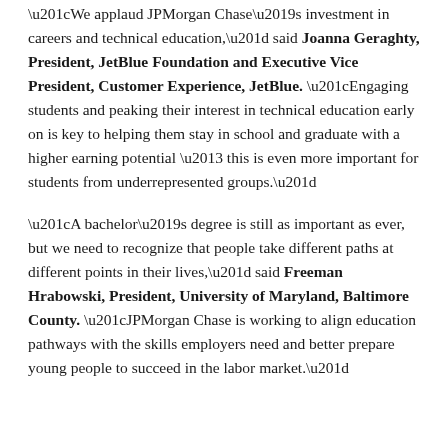“We applaud JPMorgan Chase’s investment in careers and technical education,” said Joanna Geraghty, President, JetBlue Foundation and Executive Vice President, Customer Experience, JetBlue. “Engaging students and peaking their interest in technical education early on is key to helping them stay in school and graduate with a higher earning potential – this is even more important for students from underrepresented groups.”
“A bachelor’s degree is still as important as ever, but we need to recognize that people take different paths at different points in their lives,” said Freeman Hrabowski, President, University of Maryland, Baltimore County. “JPMorgan Chase is working to align education pathways with the skills employers need and better prepare young people to succeed in the labor market.”